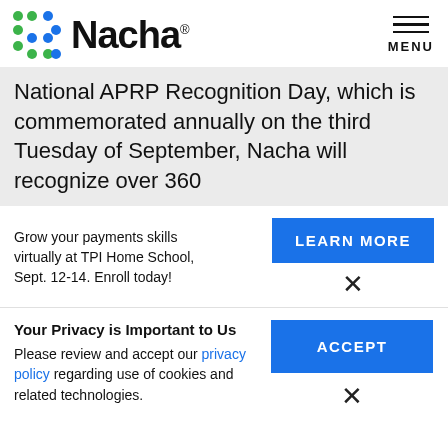[Figure (logo): Nacha logo with colored dot pattern and wordmark]
National APRP Recognition Day, which is commemorated annually on the third Tuesday of September, Nacha will recognize over 360
Grow your payments skills virtually at TPI Home School, Sept. 12-14. Enroll today!
LEARN MORE
×
Your Privacy is Important to Us
Please review and accept our privacy policy regarding use of cookies and related technologies.
ACCEPT
×